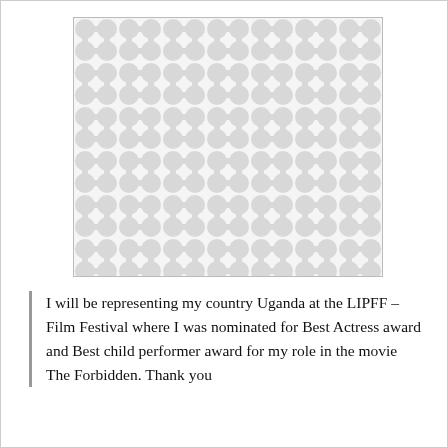[Figure (illustration): A decorative pattern image placeholder with a light grey repeating organic/blob-like pattern (resembling connected rounded shapes or a wavy dot pattern) on a white background, enclosed in a rectangular border.]
I will be representing my country Uganda at the LIPFF – Film Festival where I was nominated for Best Actress award and Best child performer award for my role in the movie The Forbidden. Thank you